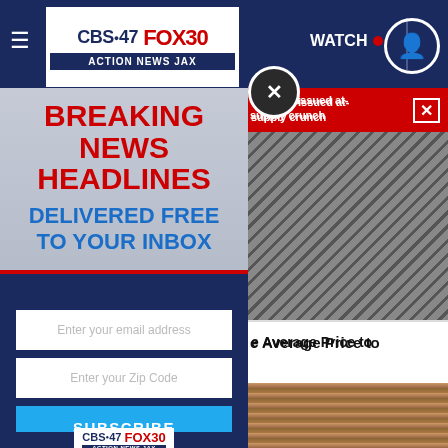[Figure (screenshot): CBS47 FOX30 Action News Jax website navigation bar with hamburger menu, logo, WATCH button with red dot, and user profile icon]
[Figure (screenshot): Modal overlay popup for Breaking News Headlines email subscription with close button, showing form fields for email and zip code, and Subscribe button]
ernment-issued at-
pupply crunch
e Average Price to
[Figure (photo): Background article images showing textured/bark-like surface and cluttered items]
BREAKING NEWS HEADLINES DELIVERED FREE TO YOUR INBOX
Enter your email address
Enter your Zip Code
SUBSCRIBE
[Figure (logo): CBS47 FOX30 Action News Jax logo at bottom of modal]